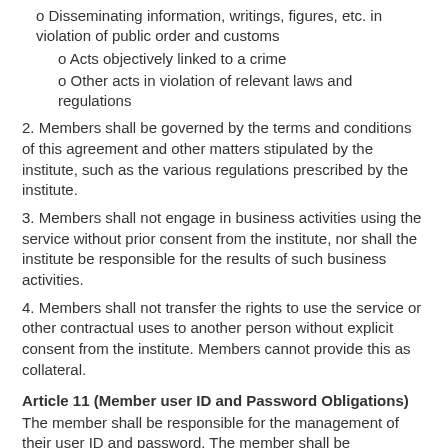o Disseminating information, writings, figures, etc. in violation of public order and customs
o Acts objectively linked to a crime
o Other acts in violation of relevant laws and regulations
2. Members shall be governed by the terms and conditions of this agreement and other matters stipulated by the institute, such as the various regulations prescribed by the institute.
3. Members shall not engage in business activities using the service without prior consent from the institute, nor shall the institute be responsible for the results of such business activities.
4. Members shall not transfer the rights to use the service or other contractual uses to another person without explicit consent from the institute. Members cannot provide this as collateral.
Article 11 (Member user ID and Password Obligations)
The member shall be responsible for the management of their user ID and password. The member shall be responsible for all consequences of negligence, and the institute shall not be held liable for any negligence on their part.